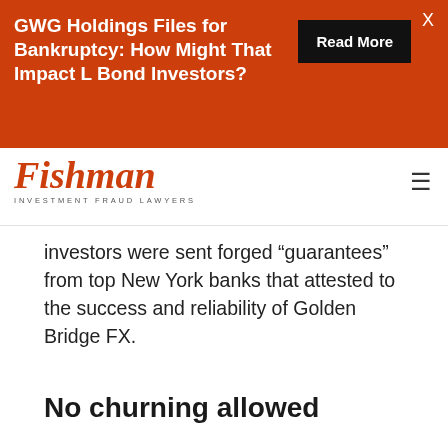[Figure (other): Orange banner advertisement: 'GWG Holdings Files for Bankruptcy: How Might That Impact L Bond Investors?' with a black 'Read More' button and an X close button]
[Figure (logo): Fishman Investment Fraud Lawyers logo in orange serif italic font with hamburger menu icon]
investors were sent forged “guarantees” from top New York banks that attested to the success and reliability of Golden Bridge FX.
No churning allowed